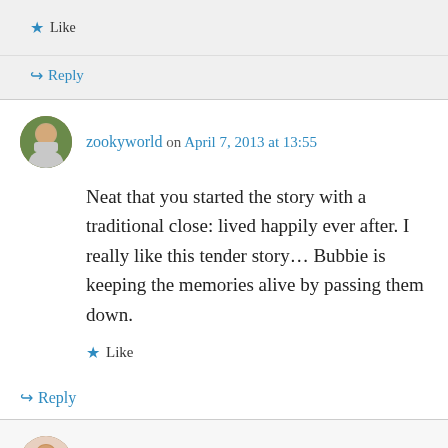Like
Reply
zookyworld on April 7, 2013 at 13:55
Neat that you started the story with a traditional close: lived happily ever after. I really like this tender story… Bubbie is keeping the memories alive by passing them down.
Like
Reply
sandraconner on April 7, 2013 at 21:50
I love this, Rochelle! And your beginning is so